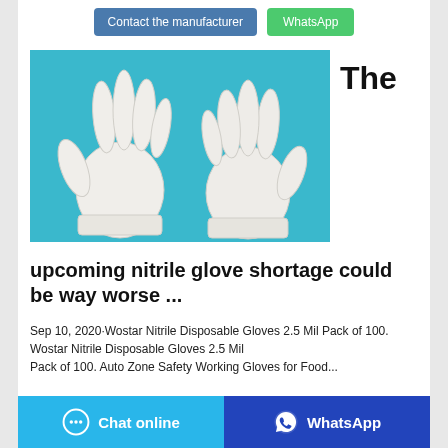Contact the manufacturer
WhatsApp
[Figure (photo): Two white nitrile/latex disposable gloves laid flat on a blue background]
The
upcoming nitrile glove shortage could be way worse ...
Sep 10, 2020·Wostar Nitrile Disposable Gloves 2.5 Mil Pack of 100. Wostar Nitrile Disposable Gloves 2.5 Mil Pack of 100. Auto Zone Safety Working Gloves for Food...
Chat online
WhatsApp